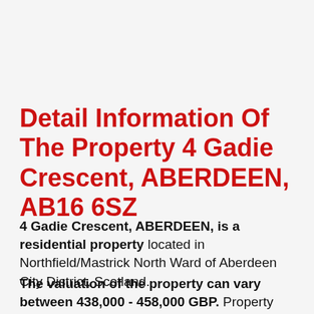Detail Information Of The Property 4 Gadie Crescent, ABERDEEN, AB16 6SZ
4 Gadie Crescent, ABERDEEN, is a residential property located in Northfield/Mastrick North Ward of Aberdeen City District, Scotland.
The valuation of the property can vary between 438,000 - 458,000 GBP. Property prices depend on property type and locality. View